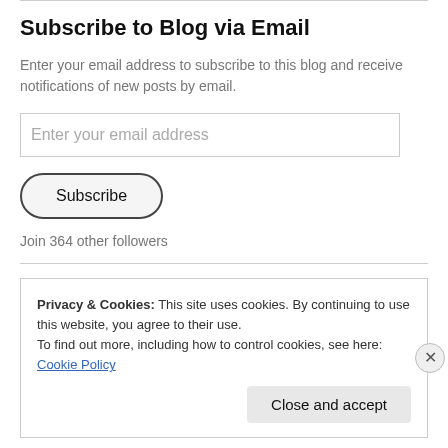Subscribe to Blog via Email
Enter your email address to subscribe to this blog and receive notifications of new posts by email.
Enter your email address
Subscribe
Join 364 other followers
Privacy & Cookies: This site uses cookies. By continuing to use this website, you agree to their use.
To find out more, including how to control cookies, see here: Cookie Policy
Close and accept